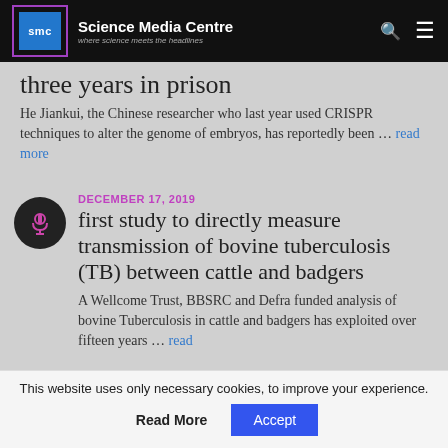Science Media Centre — where science meets the headlines
three years in prison
He Jiankui, the Chinese researcher who last year used CRISPR techniques to alter the genome of embryos, has reportedly been … read more
DECEMBER 17, 2019
first study to directly measure transmission of bovine tuberculosis (TB) between cattle and badgers
A Wellcome Trust, BBSRC and Defra funded analysis of bovine Tuberculosis in cattle and badgers has exploited over fifteen years … read
This website uses only necessary cookies, to improve your experience.